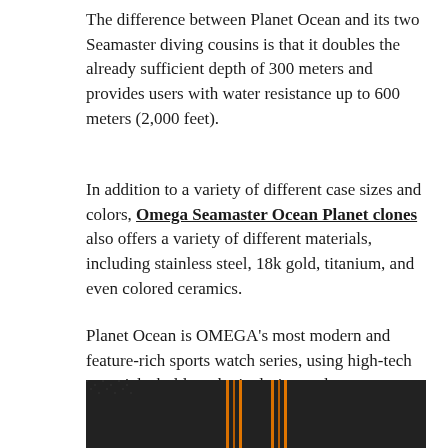The difference between Planet Ocean and its two Seamaster diving cousins is that it doubles the already sufficient depth of 300 meters and provides users with water resistance up to 600 meters (2,000 feet).
In addition to a variety of different case sizes and colors, Omega Seamaster Ocean Planet clones also offers a variety of different materials, including stainless steel, 18k gold, titanium, and even colored ceramics.
Planet Ocean is OMEGA's most modern and feature-rich sports watch series, using high-tech materials, bold aesthetic design and an chronometer-certified movement, equipped with a coaxial escapement.
[Figure (photo): Close-up photo of a dark black leather or textured material with orange vertical stripes, likely a watch strap or band detail.]